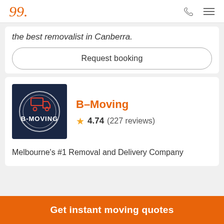the best removalist in Canberra.
Request booking
[Figure (logo): B-Moving company logo: dark navy square with a moving truck icon in red outline, circular decorative lines, and 'B-MOVING' text in white]
B-Moving
4.74 (227 reviews)
Melbourne's #1 Removal and Delivery Company
Get instant moving quotes